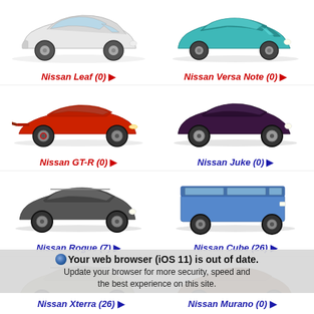[Figure (photo): Nissan Leaf white side profile]
Nissan Leaf (0) ▶
[Figure (photo): Nissan Versa Note teal side profile]
Nissan Versa Note (0) ▶
[Figure (photo): Nissan GT-R red sports car side profile]
Nissan GT-R (0) ▶
[Figure (photo): Nissan Juke dark purple SUV side profile]
Nissan Juke (0) ▶
[Figure (photo): Nissan Rogue dark gray SUV side profile]
Nissan Rogue (7) ▶
[Figure (photo): Nissan Cube blue boxy car side profile]
Nissan Cube (26) ▶
[Figure (photo): Nissan Xterra silver SUV partial view]
Nissan Xterra (26) ▶
[Figure (photo): Nissan Murano brown SUV partial view]
Nissan Murano (0) ▶
Your web browser (iOS 11) is out of date. Update your browser for more security, speed and the best experience on this site.